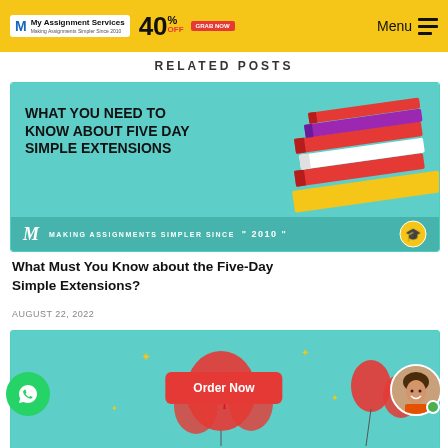My Assignment Services · Making Assignments Simpler Since 2010 · 40% OFF · GRAB NOW · Menu
RELATED POSTS
[Figure (illustration): Advertisement banner with teal background showing stacked books, text 'WHAT YOU NEED TO KNOW ABOUT FIVE DAY SIMPLE EXTENSIONS', M logo, and tagline 'MAKING ASSIGNMENTS SIMPLER SINCE 2010']
What Must You Know about the Five-Day Simple Extensions?
AUGUST 22, 2022
[Figure (illustration): Partial view of a second article card with teal background showing Canada-themed decorations with balloons and maple leaf, with Order Now button and WhatsApp button overlay]